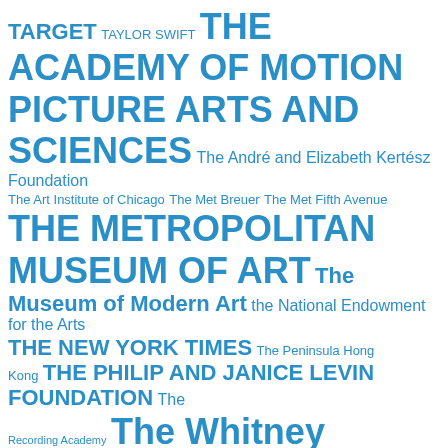[Figure (infographic): Tag cloud / word cloud in blue text on white background. Words appear in varying sizes indicating frequency/importance. Text includes: TARGET, TAYLOR SWIFT, THE ACADEMY OF MOTION PICTURE ARTS AND SCIENCES, The André and Elizabeth Kertész Foundation, The Art Institute of Chicago, The Met Breuer, The Met Fifth Avenue, THE METROPOLITAN MUSEUM OF ART, The Museum of Modern Art, the National Endowment for the Arts, THE NEW YORK TIMES, The Peninsula Hong Kong, THE PHILIP AND JANICE LEVIN FOUNDATION, The Recording Academy, The Whitney Museum of American Art, THOMAS P. CAMPBELL, TOM]